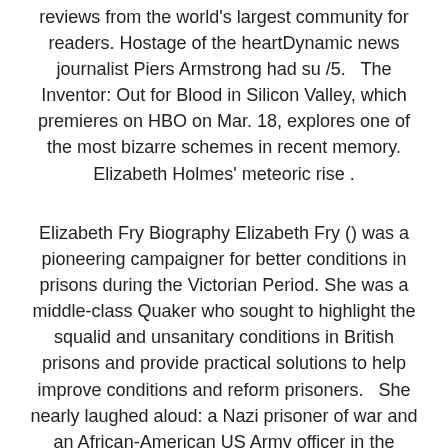reviews from the world's largest community for readers. Hostage of the heartDynamic news journalist Piers Armstrong had su /5.   The Inventor: Out for Blood in Silicon Valley, which premieres on HBO on Mar. 18, explores one of the most bizarre schemes in recent memory. Elizabeth Holmes' meteoric rise .
Elizabeth Fry Biography Elizabeth Fry () was a pioneering campaigner for better conditions in prisons during the Victorian Period. She was a middle-class Quaker who sought to highlight the squalid and unsanitary conditions in British prisons and provide practical solutions to help improve conditions and reform prisoners.   She nearly laughed aloud: a Nazi prisoner of war and an African-American US Army officer in the middle of World War II? Ridiculous. But Friedrich . Robert Poley, spy and ... for the court of Queen Elizabeth I ...